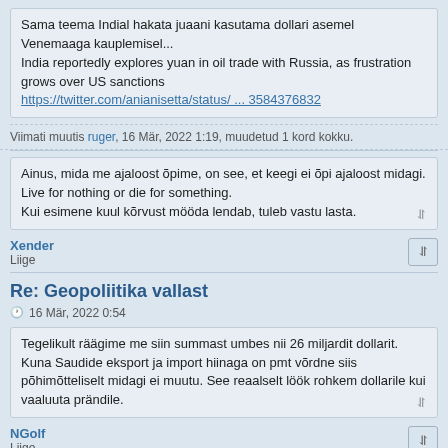Sama teema Indial hakata juaani kasutama dollari asemel Venemaaga kauplemisel...
India reportedly explores yuan in oil trade with Russia, as frustration grows over US sanctions
https://twitter.com/anianisetta/status/ ... 3584376832
Viimati muutis ruger, 16 Mär, 2022 1:19, muudetud 1 kord kokku.
Ainus, mida me ajaloost õpime, on see, et keegi ei õpi ajaloost midagi.
Live for nothing or die for something.
Kui esimene kuul kõrvust mööda lendab, tuleb vastu lasta.
Xender
Liige
Re: Geopoliitika vallast
16 Mär, 2022 0:54
Tegelikult räägime me siin summast umbes nii 26 miljardit dollarit. Kuna Saudide eksport ja import hiinaga on pmt võrdne siis põhimõtteliselt midagi ei muutu. See reaalselt löök rohkem dollarile kui vaaluuta prändile.
NGolf
Liige